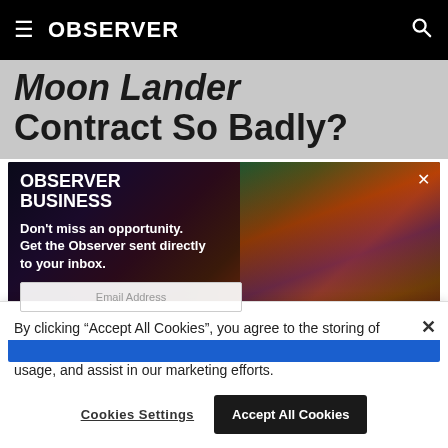OBSERVER
Moon Lander Contract So Badly?
[Figure (screenshot): Observer Business newsletter signup popup overlay on dark background with colorful light streaks. Contains text 'OBSERVER BUSINESS', 'Don't miss an opportunity. Get the Observer sent directly to your inbox.', an Email Address input field, and a subscribe button strip. A close (×) button is in the top right corner.]
By clicking “Accept All Cookies”, you agree to the storing of cookies on your device to enhance site navigation, analyze site usage, and assist in our marketing efforts.
Cookies Settings
Accept All Cookies